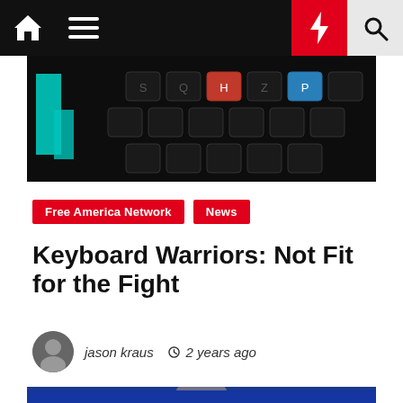Free America Network — Navigation bar with home, menu, bolt, and search icons
[Figure (photo): Keyboard with colorful keys (cyan, red, blue) on a dark background]
Free America Network  News
Keyboard Warriors: Not Fit for the Fight
jason kraus  2 years ago
[Figure (photo): Man in suit speaking at a podium against a blue background]